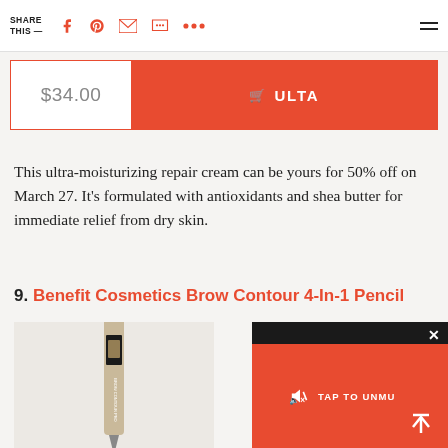SHARE THIS —  [Facebook] [Pinterest] [Email] [Message] [More] [Menu]
$34.00  🛒 ULTA
This ultra-moisturizing repair cream can be yours for 50% off on March 27. It's formulated with antioxidants and shea butter for immediate relief from dry skin.
9. Benefit Cosmetics Brow Contour 4-In-1 Pencil
[Figure (photo): Product photo of Benefit Cosmetics Brow Contour 4-In-1 Pencil]
[Figure (screenshot): Video overlay with TAP TO UNMUTE button and scroll-up arrow in red, on dark background]